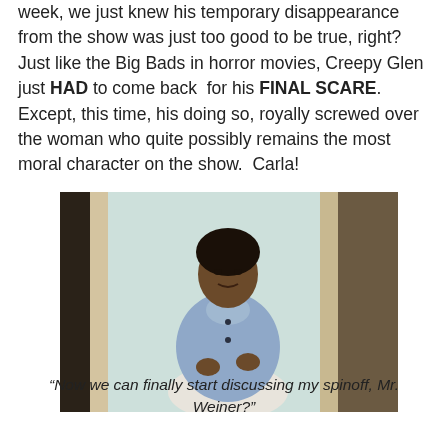week, we just knew his temporary disappearance from the show was just too good to be true, right?  Just like the Big Bads in horror movies, Creepy Glen just HAD to come back  for his FINAL SCARE.  Except, this time, his doing so, royally screwed over the woman who quite possibly remains the most moral character on the show.  Carla!
[Figure (photo): A woman in a light blue button-up shirt standing in a doorway, looking forward with a slight smile, with a light-colored interior visible behind her.]
“Now we can finally start discussing my spinoff, Mr. Weiner?”